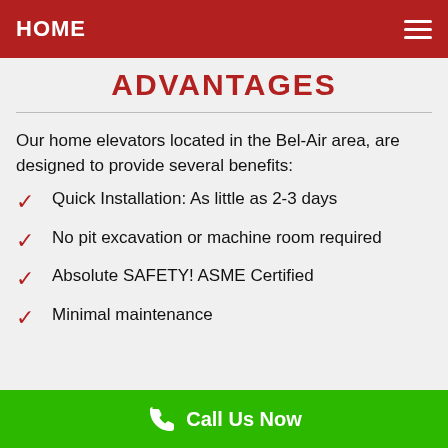HOME
ADVANTAGES
Our home elevators located in the Bel-Air area, are designed to provide several benefits:
Quick Installation: As little as 2-3 days
No pit excavation or machine room required
Absolute SAFETY! ASME Certified
Minimal maintenance
Call Us Now